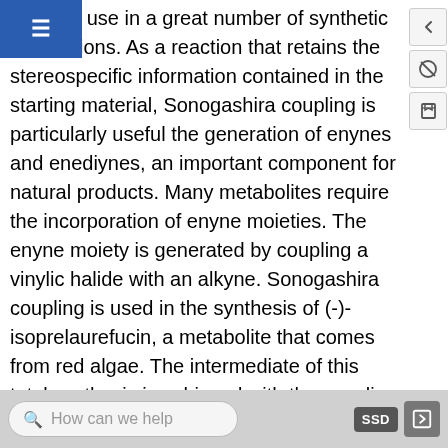g to find use in a great number of synthetic applications. As a reaction that retains the stereospecific information contained in the starting material, Sonogashira coupling is particularly useful the generation of enynes and enediynes, an important component for natural products. Many metabolites require the incorporation of enyne moieties. The enyne moiety is generated by coupling a vinylic halide with an alkyne. Sonogashira coupling is used in the synthesis of (-)-isoprelaurefucin, a metabolite that comes from red algae. The intermediate of this total synthesis is achieved with the coupling of an vinyl iodide with trimethylsilylacetylene (Scheme 11).¹ The total syntheses of natural products such as benzylisoquinolines, indole alkaloids, and
How can we help